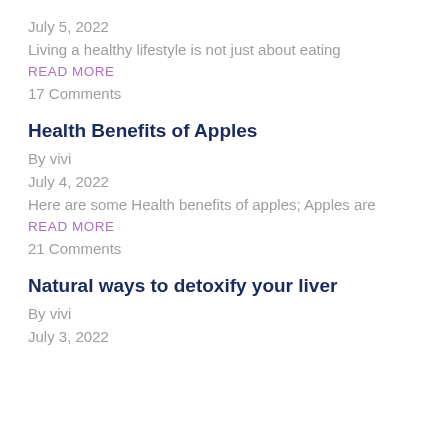July 5, 2022
Living a healthy lifestyle is not just about eating
READ MORE
17 Comments
Health Benefits of Apples
By vivi
July 4, 2022
Here are some Health benefits of apples; Apples are
READ MORE
21 Comments
Natural ways to detoxify your liver
By vivi
July 3, 2022